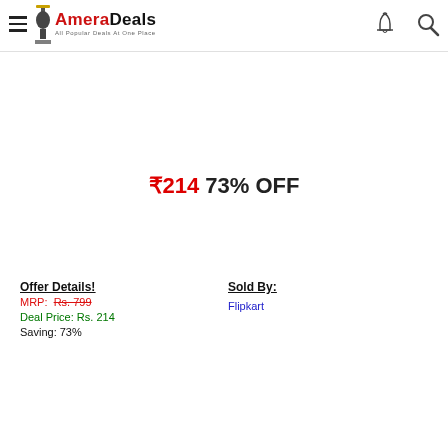AmeraDeals — All Popular Deals At One Place
₹214  73% OFF
Offer Details!
MRP: Rs. 799
Deal Price: Rs. 214
Saving: 73%
Sold By:
Flipkart